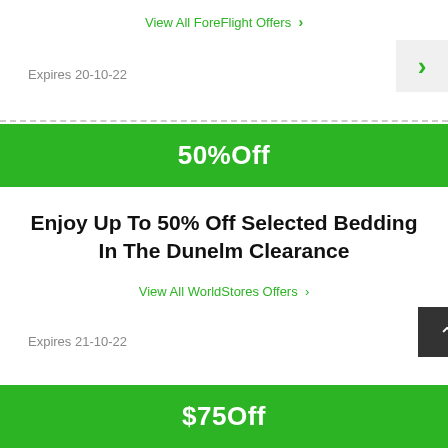View All ForeFlight Offers >
Expires 20-10-22
50%Off
Enjoy Up To 50% Off Selected Bedding In The Dunelm Clearance
View All WorldStores Offers >
Expires 21-10-22
$75Off